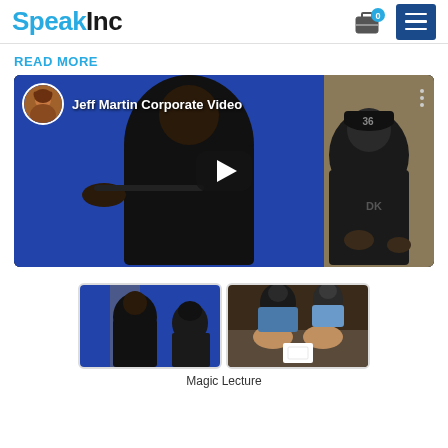SpeakInc
READ MORE
[Figure (screenshot): Embedded video thumbnail showing 'Jeff Martin Corporate Video' with two men in black shirts on a blue background, a play button overlay, a circular avatar of Jeff Martin, and a video title overlay.]
[Figure (screenshot): Two video thumbnails side by side showing scenes from a magic lecture performance.]
Magic Lecture